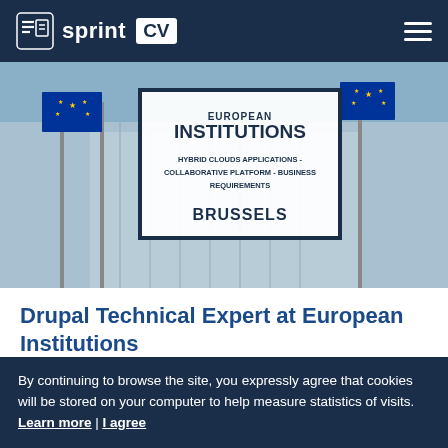sprint CV
[Figure (photo): Hero image showing European Commission building with EU flags, overlaid with a bordered box containing text: EUROPEAN INSTITUTIONS, HYBRID CLOUDS APPLICATIONS - COLLABORATIVE PLATFORM - BUSINESS REQUIREMENTS, BRUSSELS]
Drupal Technical Expert at European Institutions
European Commission   Brussels, BE
By continuing to browse the site, you expressly agree that cookies will be stored on your computer to help measure statistics of visits.   Learn more | I agree